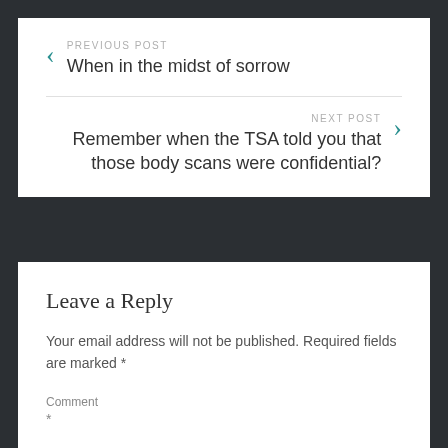PREVIOUS POST
When in the midst of sorrow
NEXT POST
Remember when the TSA told you that those body scans were confidential?
Leave a Reply
Your email address will not be published. Required fields are marked *
Comment
*